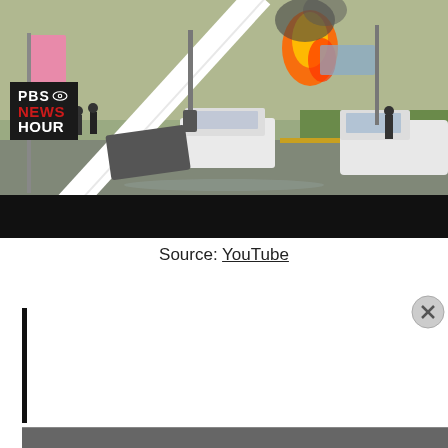[Figure (screenshot): PBS NewsHour video screenshot showing a street scene with vehicles, fire, armed individuals, and a large white diagonal structure. PBS NewsHour logo visible in lower left of the video frame. Below the video is a black bar (video player controls area).]
Source: YouTube
Privacy & Cookies: This site uses cookies. By continuing to use this website, you agree to their use.
To find out more, including how to control cookies, see here: Cookie Policy
Close and accept